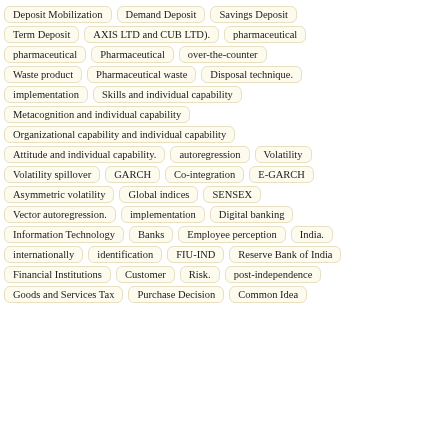Deposit Mobilization
Demand Deposit
Savings Deposit
Term Deposit
AXIS LTD and CUB LTD).
pharmaceutical
pharmaceutical
Pharmaceutical
over-the-counter
Waste product
Pharmaceutical waste
Disposal technique.
implementation
Skills and individual capability
Metacognition and individual capability
Organizational capability and individual capability
Attitude and individual capability.
autoregression
Volatility
Volatility spillover
GARCH
Co-integration
E-GARCH
Asymmetric volatility
Global indices
SENSEX
Vector autoregression.
implementation
Digital banking
Information Technology
Banks
Employee perception
India.
internationally
identification
FIU-IND
Reserve Bank of India
Financial Institutions
Customer
Risk.
post-independence
Goods and Services Tax
Purchase Decision
Common Idea